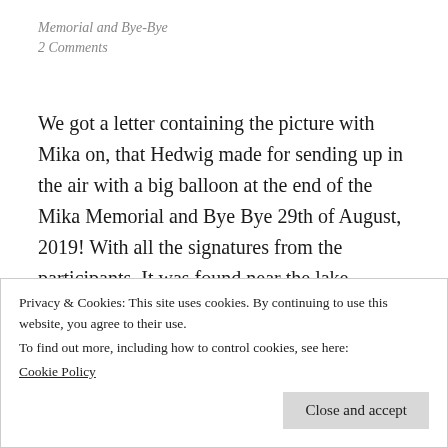Memorial and Bye-Bye
2 Comments
We got a letter containing the picture with Mika on, that Hedwig made for sending up in the air with a big balloon at the end of the Mika Memorial and Bye Bye 29th of August, 2019! With all the signatures from the participants. It was found near the lake Viggaren in Katrineholms municipality, 34 km north of Norrköping. The nice person who found it in the deepest of forests was kind enough to send a map and a picture from the exact spot it was found! Felt like a piece of Mika
Privacy & Cookies: This site uses cookies. By continuing to use this website, you agree to their use.
To find out more, including how to control cookies, see here:
Cookie Policy
Close and accept